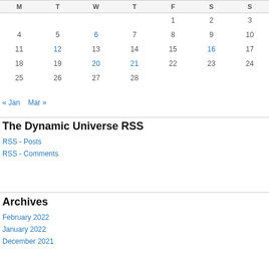| M | T | W | T | F | S | S |
| --- | --- | --- | --- | --- | --- | --- |
|  |  |  |  | 1 | 2 | 3 |
| 4 | 5 | 6 | 7 | 8 | 9 | 10 |
| 11 | 12 | 13 | 14 | 15 | 16 | 17 |
| 18 | 19 | 20 | 21 | 22 | 23 | 24 |
| 25 | 26 | 27 | 28 |  |  |  |
« Jan   Mar »
The Dynamic Universe RSS
RSS - Posts
RSS - Comments
Archives
February 2022
January 2022
December 2021